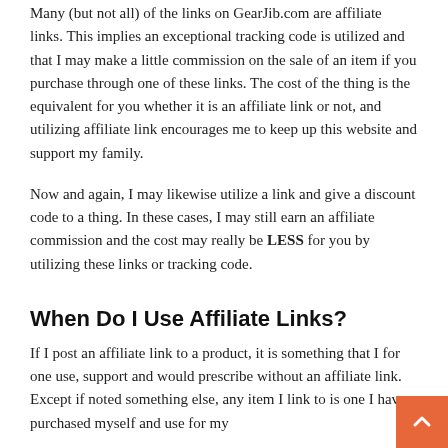Many (but not all) of the links on GearJib.com are affiliate links. This implies an exceptional tracking code is utilized and that I may make a little commission on the sale of an item if you purchase through one of these links. The cost of the thing is the equivalent for you whether it is an affiliate link or not, and utilizing affiliate link encourages me to keep up this website and support my family.
Now and again, I may likewise utilize a link and give a discount code to a thing. In these cases, I may still earn an affiliate commission and the cost may really be LESS for you by utilizing these links or tracking code.
When Do I Use Affiliate Links?
If I post an affiliate link to a product, it is something that I for one use, support and would prescribe without an affiliate link. Except if noted something else, any item I link to is one I have purchased myself and use for my...